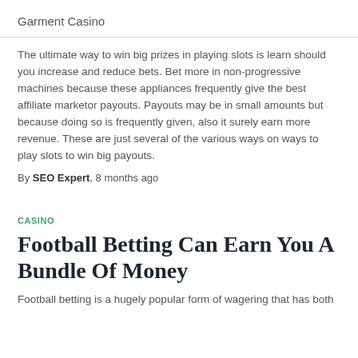Garment Casino
The ultimate way to win big prizes in playing slots is learn should you increase and reduce bets. Bet more in non-progressive machines because these appliances frequently give the best affiliate marketor payouts. Payouts may be in small amounts but because doing so is frequently given, also it surely earn more revenue. These are just several of the various ways on ways to play slots to win big payouts.
By SEO Expert, 8 months ago
CASINO
Football Betting Can Earn You A Bundle Of Money
Football betting is a hugely popular form of wagering that has both